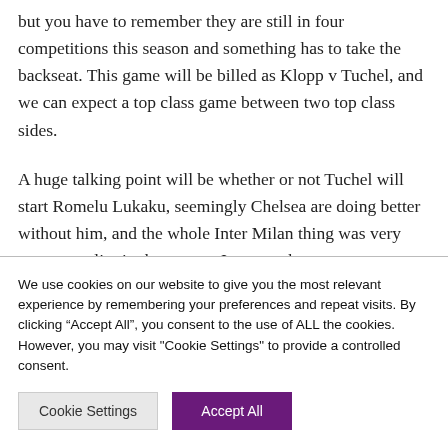but you have to remember they are still in four competitions this season and something has to take the backseat. This game will be billed as Klopp v Tuchel, and we can expect a top class game between two top class sides.
A huge talking point will be whether or not Tuchel will start Romelu Lukaku, seemingly Chelsea are doing better without him, and the whole Inter Milan thing was very strange earlier in the season. It seems the
We use cookies on our website to give you the most relevant experience by remembering your preferences and repeat visits. By clicking “Accept All”, you consent to the use of ALL the cookies. However, you may visit "Cookie Settings" to provide a controlled consent.